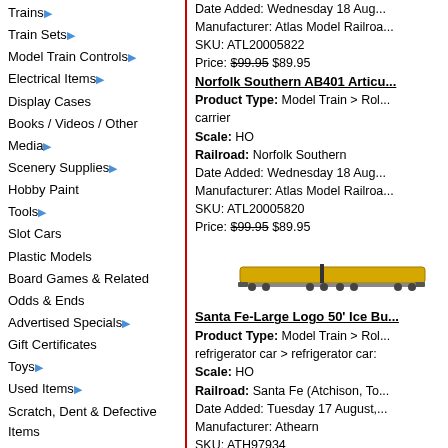Trains ▶
Train Sets ▶
Model Train Controls ▶
Electrical Items ▶
Display Cases
Books / Videos / Other
Media ▶
Scenery Supplies ▶
Hobby Paint
Tools ▶
Slot Cars
Plastic Models
Board Games & Related
Odds & Ends
Advertised Specials ▶
Gift Certificates
Toys ▶
Used Items ▶
Scratch, Dent & Defective Items
Specials
Newest Products
Go To...
Manufacturers
[Figure (photo): Yellow articulated rail car - Norfolk Southern AB401]
Date Added: Wednesday 18 Aug... Manufacturer: Atlas Model Railroad SKU: ATL20005822 Price: $99.95 $89.95
Norfolk Southern AB401 Articul... Product Type: Model Train > Rol... carrier Scale: HO Railroad: Norfolk Southern Date Added: Wednesday 18 Aug... Manufacturer: Atlas Model Railroa... SKU: ATL20005820 Price: $99.95 $89.95
Santa Fe-Large Logo 50' Ice Bu... Product Type: Model Train > Rol... refrigerator car > refrigerator car: Scale: HO Railroad: Santa Fe (Atchison, To... Date Added: Tuesday 17 August,... Manufacturer: Athearn SKU: ATH97934 Price: $93.98 $84.58
[Figure (photo): Brown/orange refrigerator cars - Santa Fe]
Santa Fe-Grand Canyon 50' Ice... Product Type: Model Train > Rol... refrigerator car > refrigerator car: Scale: HO Railroad: Santa Fe (Atchison To...